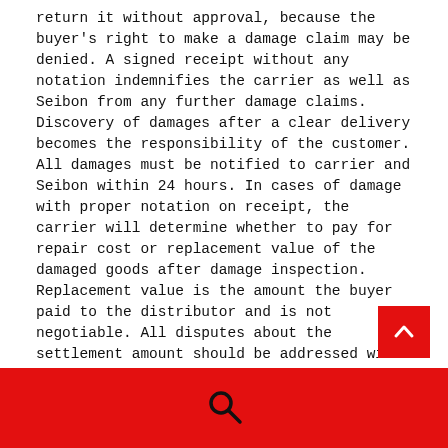return it without approval, because the buyer's right to make a damage claim may be denied. A signed receipt without any notation indemnifies the carrier as well as Seibon from any further damage claims. Discovery of damages after a clear delivery becomes the responsibility of the customer. All damages must be notified to carrier and Seibon within 24 hours. In cases of damage with proper notation on receipt, the carrier will determine whether to pay for repair cost or replacement value of the damaged goods after damage inspection. Replacement value is the amount the buyer paid to the distributor and is not negotiable. All disputes about the settlement amount should be addressed with the carrier. Seibon, under no circumstances, shall be liable for the damaged product or for subsequent settlement of the claim with the carrier.
[Figure (other): Red scroll-to-top button with upward chevron arrow, positioned bottom-right]
Red footer bar with search icon